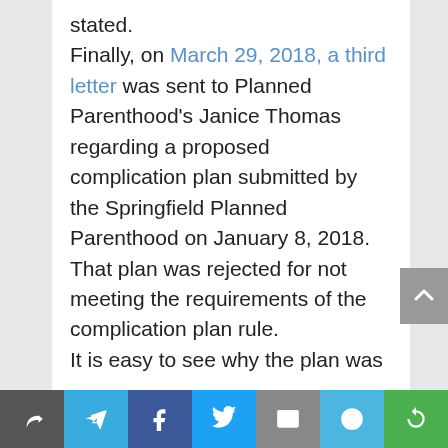stated. Finally, on March 29, 2018, a third letter was sent to Planned Parenthood's Janice Thomas regarding a proposed complication plan submitted by the Springfield Planned Parenthood on January 8, 2018. That plan was rejected for not meeting the requirements of the complication plan rule. It is easy to see why the plan was